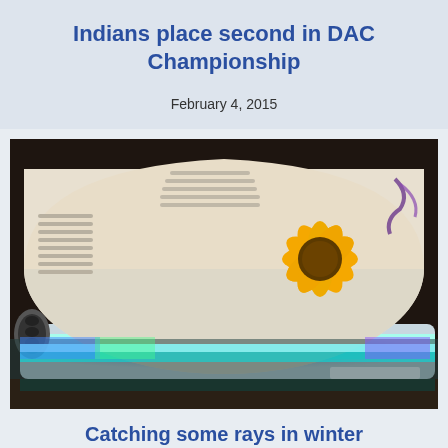Indians place second in DAC Championship
February 4, 2015
[Figure (photo): A tanning bed with a white clamshell lid decorated with a sunflower design, glowing with blue-green UV lights along the base, photographed in a dimly lit room.]
Catching some rays in winter